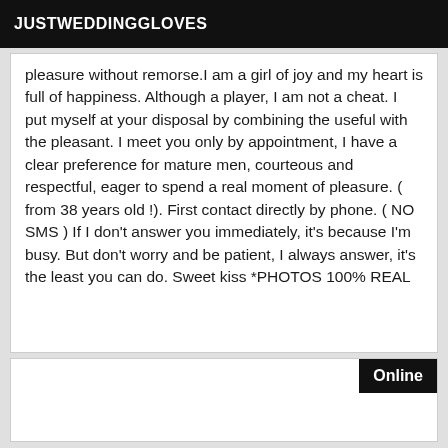JUSTWEDDINGGLOVES
pleasure without remorse.I am a girl of joy and my heart is full of happiness. Although a player, I am not a cheat. I put myself at your disposal by combining the useful with the pleasant. I meet you only by appointment, I have a clear preference for mature men, courteous and respectful, eager to spend a real moment of pleasure. ( from 38 years old !). First contact directly by phone. ( NO SMS ) If I don't answer you immediately, it's because I'm busy. But don't worry and be patient, I always answer, it's the least you can do. Sweet kiss *PHOTOS 100% REAL
Online